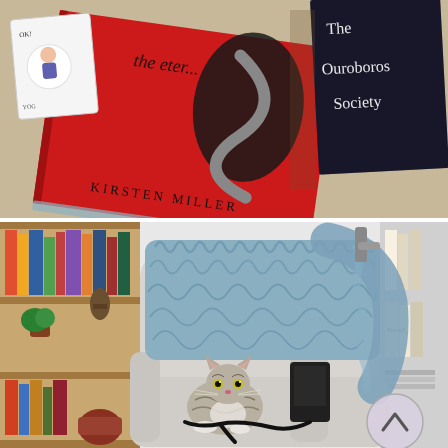[Figure (photo): Photo of two books on a textured beige surface: a red book titled 'the eter...' by Kirsten Miller with a snake graphic on the cover, and a dark navy book labeled 'The Ouroboros Society'. A small illustrated sticker or booklet is partially visible on the left.]
[Figure (photo): Photo of a tabby and white cat lounging on a light grey armchair. A fluffy blue-grey throw blanket is draped over the back of the chair. A bookshelf with colorful books and decorative items is visible in the background. An electronic device with a cord is resting on the chair arm, and a circular arrow icon (scroll-up button) is visible on the lower right of the image.]